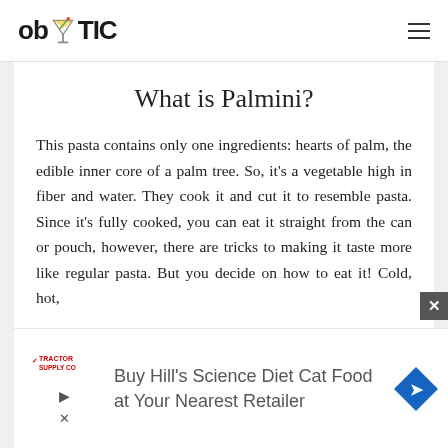ob TIC
What is Palmini?
This pasta contains only one ingredients: hearts of palm, the edible inner core of a palm tree. So, it's a vegetable high in fiber and water. They cook it and cut it to resemble pasta. Since it's fully cooked, you can eat it straight from the can or pouch, however, there are tricks to making it taste more like regular pasta. But you decide on how to eat it! Cold, hot,
[Figure (screenshot): Advertisement banner for Tractor Supply Co promoting Hill's Science Diet Cat Food at Your Nearest Retailer, with a navigation arrow icon]